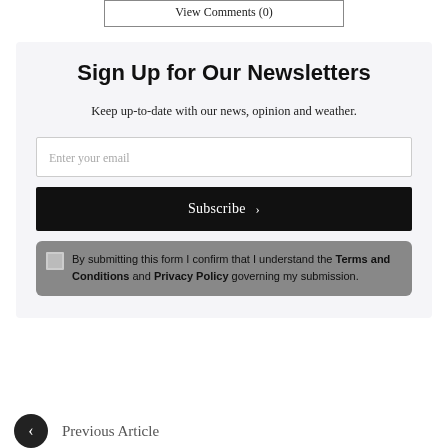View Comments (0)
Sign Up for Our Newsletters
Keep up-to-date with our news, opinion and weather.
Enter your email
Subscribe >
By submitting this form I confirm that I understand the Terms and Conditions and Privacy Policy governing my submission.
Previous Article